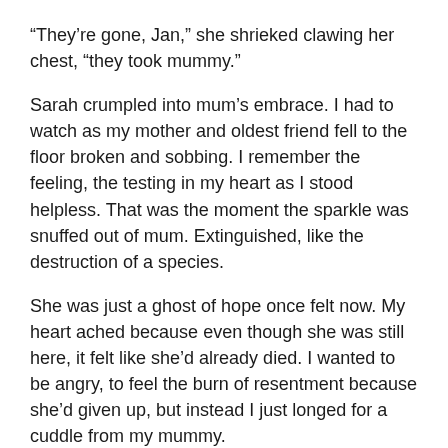“They’re gone, Jan,” she shrieked clawing her chest, “they took mummy.”
Sarah crumpled into mum’s embrace. I had to watch as my mother and oldest friend fell to the floor broken and sobbing. I remember the feeling, the testing in my heart as I stood helpless. That was the moment the sparkle was snuffed out of mum. Extinguished, like the destruction of a species.
She was just a ghost of hope once felt now. My heart ached because even though she was still here, it felt like she’d already died. I wanted to be angry, to feel the burn of resentment because she’d given up, but instead I just longed for a cuddle from my mummy.
“It’s a positive, Jan. I’m telling you. I just know we’re close to something,” she said, reaching for her. She pulled her